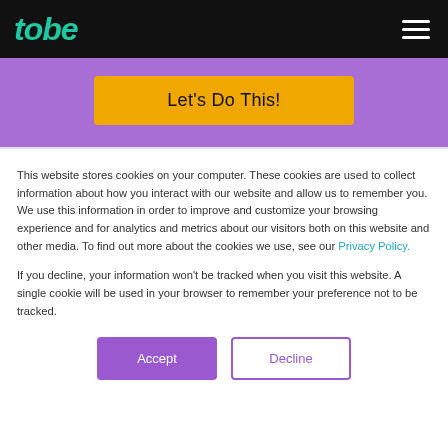tobe
Let's Do This!
This website stores cookies on your computer. These cookies are used to collect information about how you interact with our website and allow us to remember you. We use this information in order to improve and customize your browsing experience and for analytics and metrics about our visitors both on this website and other media. To find out more about the cookies we use, see our Privacy Policy.
If you decline, your information won't be tracked when you visit this website. A single cookie will be used in your browser to remember your preference not to be tracked.
Accept
Decline